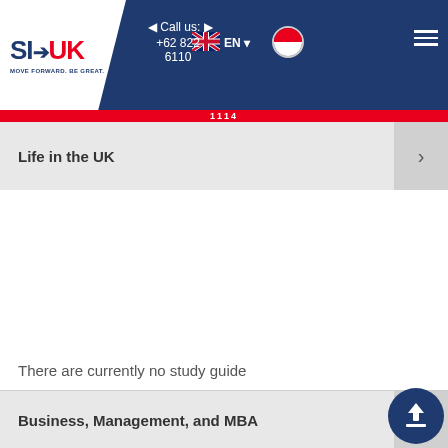[Figure (logo): SI-UK logo with text MOVE FORWARD. BE GREAT. on white background with diagonal cut]
Call us: +62 822 6110 1114
EN
Life in the UK
There are currently no study guide
Business, Management, and MBA